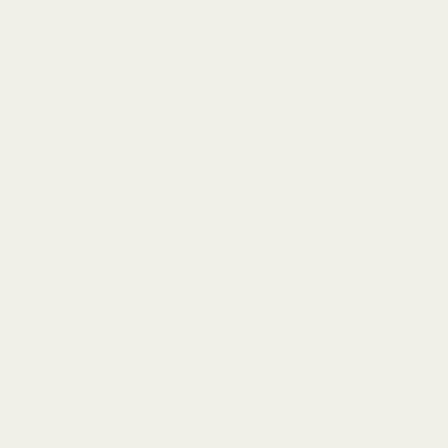| Thread | Author |
| --- | --- |
| Re: Not-really-brag-so-much-as-quirky-anecdote thread | KADmom |
| Re: Not-really-brag-so-much-as-quirky-anecdote thread | aquinas |
| Re: Not-really-brag-so-much-as-quirky-anecdote thread | W'sMama |
| Re: Not-really-brag-so-much-as-quirky-anecdote thread | deacongi |
| Re: Not-really-brag-so-much-as-quirky-anecdote thread | KADmom |
| Re: Not-really-brag-so-much-as-quirky-anecdote thread | KADmom |
| Re: Not-really-brag-so-much-as-quirky-anecdote thread | Elizabeth |